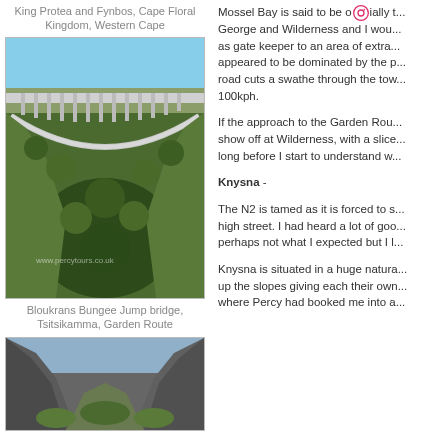King Protea and Fynbos, Cape Floral Kingdom, Western Cape
[Figure (photo): Bloukrans Bungee Jump bridge in Tsitsikamma, Garden Route – a large arch bridge over a deep green gorge]
Bloukrans Bungee Jump bridge, Tsitsikamma, Garden Route
[Figure (photo): Mountain pass or gorge with steep rocky slopes and a valley]
Mossel Bay is said to be officially t... George and Wilderness and I wou... as gate keeper to an area of extra... appeared to be dominated by the p... road cuts a swathe through the tow... 100kph.
If the approach to the Garden Rou... show off at Wilderness, with a slice... long before I start to understand w...
Knysna -
The N2 is tamed as it is forced to s... high street. I had heard a lot of goo... perhaps not what I expected but I l...
Knysna is situated in a huge natura... up the slopes giving each their own... where Percy had booked me into a...